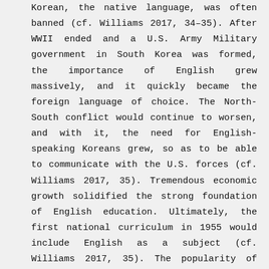Korean, the native language, was often banned (cf. Williams 2017, 34–35). After WWII ended and a U.S. Army Military government in South Korea was formed, the importance of English grew massively, and it quickly became the foreign language of choice. The North-South conflict would continue to worsen, and with it, the need for English-speaking Koreans grew, so as to be able to communicate with the U.S. forces (cf. Williams 2017, 35). Tremendous economic growth solidified the strong foundation of English education. Ultimately, the first national curriculum in 1955 would include English as a subject (cf. Williams 2017, 35). The popularity of English has since not decreased. This might also be due to the positive image the language holds for many Koreans on a personal level, as it was always the language of resistance against oppression and stood for better